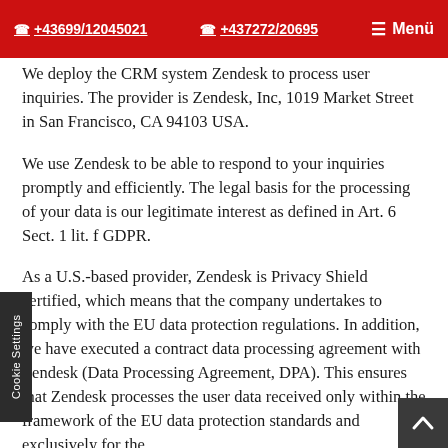+43699/12045021   +437272/20695   Menü
We deploy the CRM system Zendesk to process user inquiries. The provider is Zendesk, Inc, 1019 Market Street in San Francisco, CA 94103 USA.
We use Zendesk to be able to respond to your inquiries promptly and efficiently. The legal basis for the processing of your data is our legitimate interest as defined in Art. 6 Sect. 1 lit. f GDPR.
As a U.S.-based provider, Zendesk is Privacy Shield certified, which means that the company undertakes to comply with the EU data protection regulations. In addition, we have executed a contract data processing agreement with Zendesk (Data Processing Agreement, DPA). This ensures that Zendesk processes the user data received only within the framework of the EU data protection standards and exclusively for the